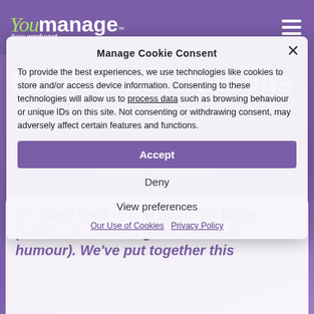[Figure (logo): YouManage from WorkNest logo — green italic 'You', white bold 'manage' with TM superscript, 'from worknest' tagline below]
The Top 10 HR Blogs
admin   | June 30, 2020
Category : Management
Manage Cookie Consent
To provide the best experiences, we use technologies like cookies to store and/or access device information. Consenting to these technologies will allow us to process data such as browsing behaviour or unique IDs on this site. Not consenting or withdrawing consent, may adversely affect certain features and functions.
Accept
Deny
View preferences
Our Use of Cookies   Privacy Policy
It's often hard to find good HR blogs (which also have a good sense of humour). We've put together this